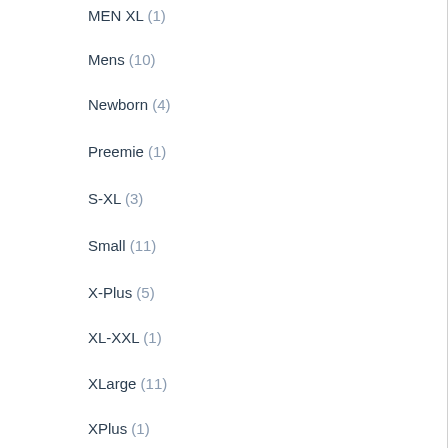MEN XL (1)
Mens (10)
Newborn (4)
Preemie (1)
S-XL (3)
Small (11)
X-Plus (5)
XL-XXL (1)
XLarge (11)
XPlus (1)
XS-S (1)
XS-S (4-7) (54)